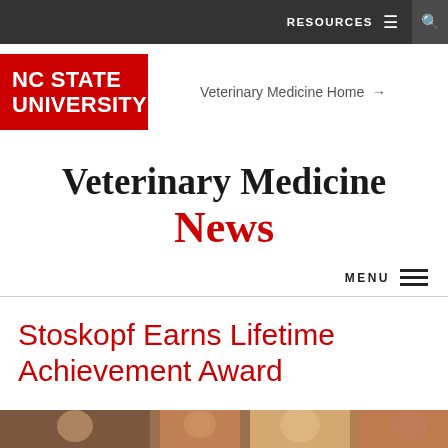RESOURCES  ☰  🔍
[Figure (logo): NC State University red logo box with white bold text]
Veterinary Medicine Home →
Veterinary Medicine News
MENU ☰
Stoskopf Earns Lifetime Achievement Award
[Figure (photo): Partial photo strip at bottom of page showing people]